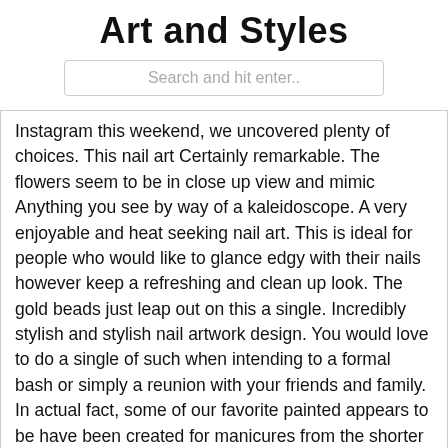Art and Styles
Search and hit enter..
Instagram this weekend, we uncovered plenty of choices. This nail art Certainly remarkable. The flowers seem to be in close up view and mimic Anything you see by way of a kaleidoscope. A very enjoyable and heat seeking nail art. This is ideal for people who would like to glance edgy with their nails however keep a refreshing and clean up look. The gold beads just leap out on this a single. Incredibly stylish and stylish nail artwork design. You would love to do a single of such when intending to a formal bash or simply a reunion with your friends and family. In actual fact, some of our favorite painted appears to be have been created for manicures from the shorter selection. They may not be the enduring, bedazzled long nails of Symone D. Sanders, but you'll find absolutely selections. Daisy flowers painted on gentle pink nails, decorated with solitary diamante – a pretty nevertheless uncomplicated design. This nail artwork design is great for planning to weddings or very similar occasions. The sort of nails will likely not distract too much notice out of